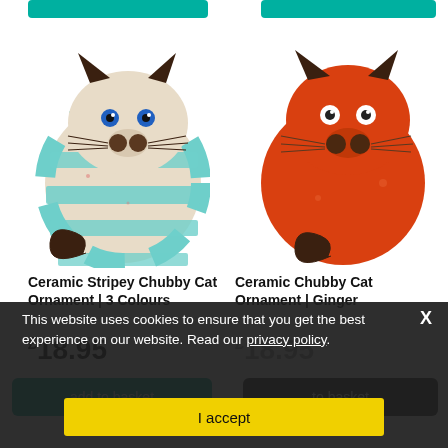[Figure (photo): Ceramic Stripey Chubby Cat Ornament in teal/cream stripes with dark brown ears, blue eyes, and curled tail]
[Figure (photo): Ceramic Chubby Cat Ornament in ginger/orange with white eyes, dark brown ears, and curled tail]
Ceramic Stripey Chubby Cat Ornament | 3 Colours
Ceramic Chubby Cat Ornament | Ginger
£18.95
£18.95
add to basket
add to basket
This website uses cookies to ensure that you get the best experience on our website. Read our privacy policy.
I accept